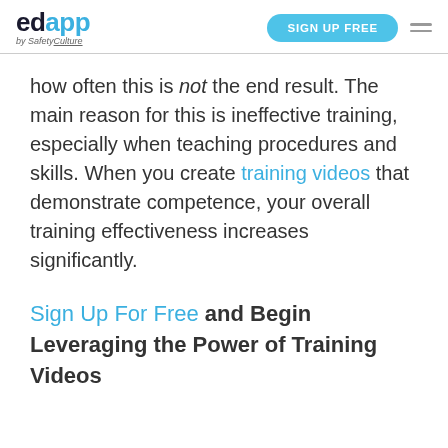edapp by SafetyCulture | SIGN UP FREE
how often this is not the end result. The main reason for this is ineffective training, especially when teaching procedures and skills. When you create training videos that demonstrate competence, your overall training effectiveness increases significantly.
Sign Up For Free and Begin Leveraging the Power of Training Videos